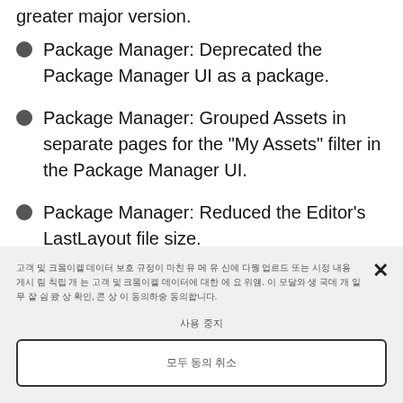greater major version.
Package Manager: Deprecated the Package Manager UI as a package.
Package Manager: Grouped Assets in separate pages for the "My Assets" filter in the Package Manager UI.
Package Manager: Reduced the Editor's LastLayout file size.
[Korean text overlay body]
[Korean overlay label]
[Korean overlay button]